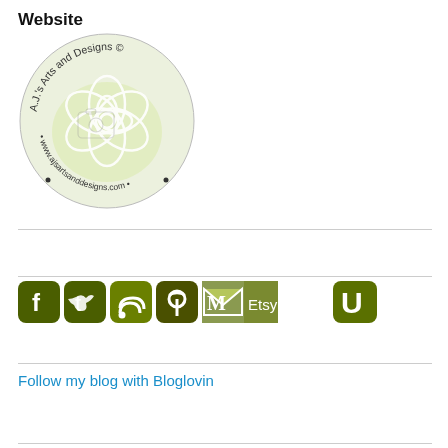Website
[Figure (logo): A.J.'s Arts and Designs circular logo with flower design and website URL www.ajsartsanddesigns.com]
[Figure (infographic): Row of social media icon buttons: Facebook, Twitter, RSS, Pinterest, Gmail/Email, Etsy, and another icon — all in olive/dark green rounded square style]
Follow my blog with Bloglovin